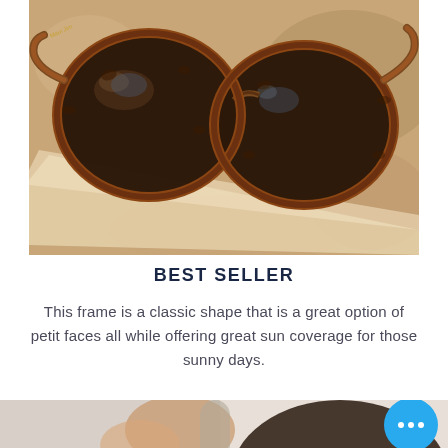[Figure (photo): Tortoiseshell sunglasses with brown gradient lenses, placed on a sandy stone surface with a palm leaf, in bright sunlight. Maui Jim branded sunglasses shot from above.]
BEST SELLER
This frame is a classic shape that is a great option of petit faces all while offering great sun coverage for those sunny days.
[Figure (photo): Partial view of a person with dark curly hair, shown from behind/side, with a bright background.]